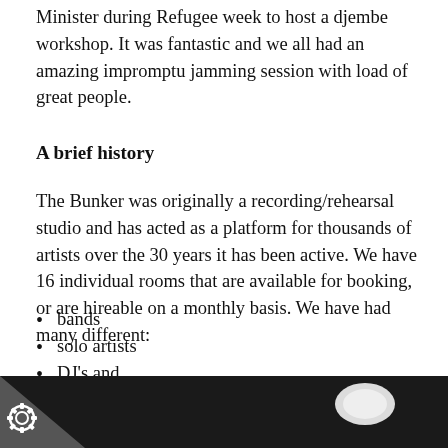Minister during Refugee week to host a djembe workshop. It was fantastic and we all had an amazing impromptu jamming session with load of great people.
A brief history
The Bunker was originally a recording/rehearsal studio and has acted as a platform for thousands of artists over the 30 years it has been active. We have 16 individual rooms that are available for booking, or are hireable on a monthly basis. We have had many different:
bands
solo artists
DJ's and
even writers
At the moment we have well-known local bands such as Leatherface and Nexilva who have been active bands for many years and have amassed a large following.
[Figure (photo): Dark photo with a bright light orb/spot visible, set against a mostly black background with a diagonal lighter area at the bottom left. A gear/settings icon is visible at the bottom left.]